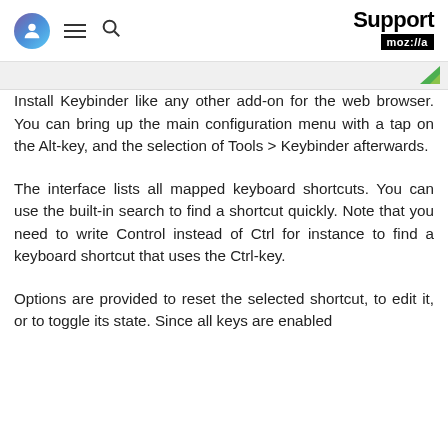Support moz://a
Install Keybinder like any other add-on for the web browser. You can bring up the main configuration menu with a tap on the Alt-key, and the selection of Tools > Keybinder afterwards.
The interface lists all mapped keyboard shortcuts. You can use the built-in search to find a shortcut quickly. Note that you need to write Control instead of Ctrl for instance to find a keyboard shortcut that uses the Ctrl-key.
Options are provided to reset the selected shortcut, to edit it, or to toggle its state. Since all keys are enabled